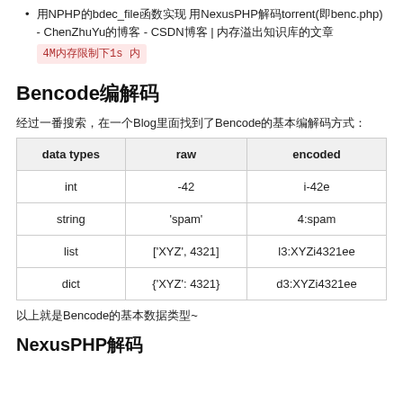用NPHP的bdec_file函数实现 用NexusPHP解码torrent(即benc.php) - ChenZhuYu的博客 - CSDN博客 | 内存溢出知识库的文章
4M内存限制下1s 内
Bencode编解码
经过一番搜索，在一个Blog里面找到了Bencode的基本编解码方式：
| data types | raw | encoded |
| --- | --- | --- |
| int | -42 | i-42e |
| string | 'spam' | 4:spam |
| list | ['XYZ', 4321] | l3:XYZi4321ee |
| dict | {'XYZ': 4321} | d3:XYZi4321ee |
以上就是Bencode的基本数据类型~
NexusPHP解码